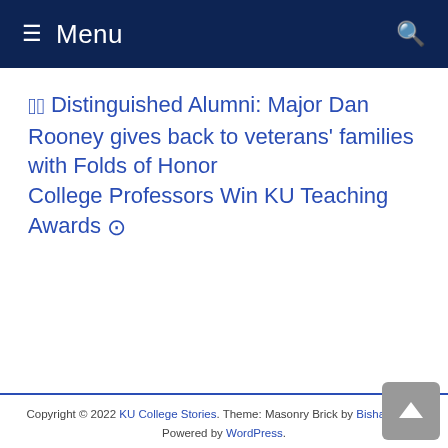≡ Menu 🔍
◉ Distinguished Alumni: Major Dan Rooney gives back to veterans' families with Folds of Honor
College Professors Win KU Teaching Awards ⊙
Copyright © 2022 KU College Stories. Theme: Masonry Brick by Bishat Napit. Powered by WordPress.